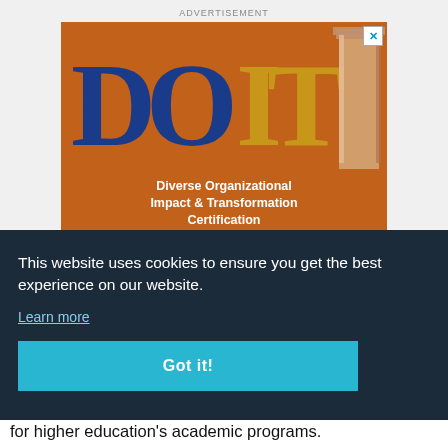ADVERTISEMENT
[Figure (illustration): DOIT - Diverse Organizational Impact & Transformation Certification advertisement banner with orange background, large blue and gold DOIT letters, a column graphic on the right, and white bold subtitle text]
This website uses cookies to ensure you get the best experience on our website.
Learn more
Got it!
e
g the
dings
for higher education's academic programs.